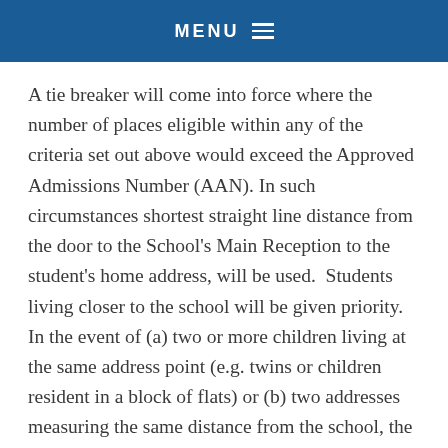MENU
A tie breaker will come into force where the number of places eligible within any of the criteria set out above would exceed the Approved Admissions Number (AAN). In such circumstances shortest straight line distance from the door to the School's Main Reception to the student's home address, will be used.  Students living closer to the school will be given priority.  In the event of (a) two or more children living at the same address point (e.g. twins or children resident in a block of flats) or (b) two addresses measuring the same distance from the school, the ultimate tie-breaker will be random selection, witnessed by an independent body.
The above criteria will be applied using an equal preference